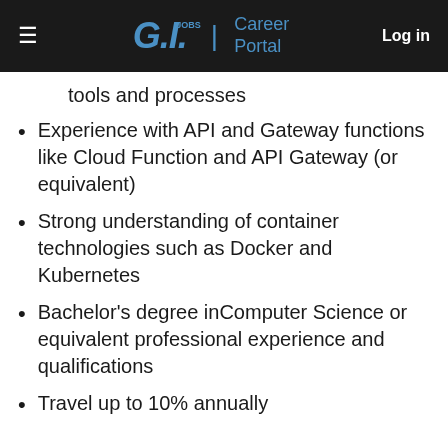G.I. Jobs | Career Portal  Log in
tools and processes
Experience with API and Gateway functions like Cloud Function and API Gateway (or equivalent)
Strong understanding of container technologies such as Docker and Kubernetes
Bachelor's degree inComputer Science or equivalent professional experience and qualifications
Travel up to 10% annually